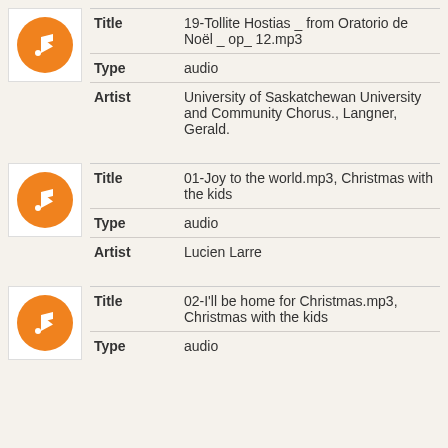| Field | Value |
| --- | --- |
| Title | 19-Tollite Hostias _ from Oratorio de Noël _ op_ 12.mp3 |
| Type | audio |
| Artist | University of Saskatchewan University and Community Chorus., Langner, Gerald. |
| Field | Value |
| --- | --- |
| Title | 01-Joy to the world.mp3, Christmas with the kids |
| Type | audio |
| Artist | Lucien Larre |
| Field | Value |
| --- | --- |
| Title | 02-I'll be home for Christmas.mp3, Christmas with the kids |
| Type | audio |